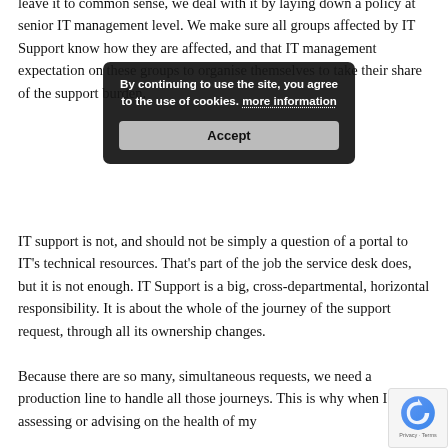leave it to common sense, we deal with it by laying down a policy at senior IT management level. We make sure all groups affected by IT Support know how they are affected, and that IT management expectation on these groups to organise themselves to take their share of the support burden.
IT support is not, and should not be simply a question of a portal to IT's technical resources. That's part of the job the service desk does, but it is not enough. IT Support is a big, cross-departmental, horizontal responsibility. It is about the whole of the journey of the support request, through all its ownership changes.
Because there are so many, simultaneous requests, we need a production line to handle all those journeys. This is why when I'm assessing or advising on the health of my